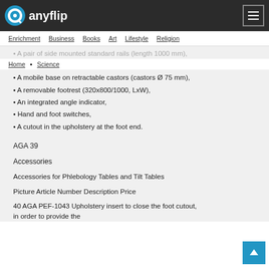anyflip
Enrichment  Business  Books  Art  Lifestyle  Religion
Home  Science
A pair of side mounted standard rails (length 1000 mm),
A mobile base on retractable castors (castors Ø 75 mm),
A removable footrest (320x800/1000, LxW),
An integrated angle indicator,
Hand and foot switches,
A cutout in the upholstery at the foot end.
AGA 39
Accessories
Accessories for Phlebology Tables and Tilt Tables
Picture Article Number Description Price
40 AGA PEF-1043 Upholstery insert to close the foot cutout, in order to provide the